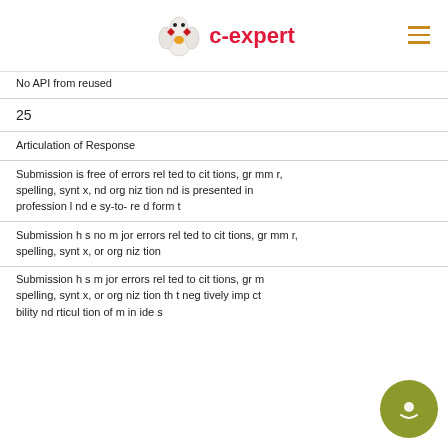c-expert
No API from reused
25
Articulation of Response
Submission is free of errors related to citations, grammar, spelling, syntax, and organization and is presented in professional and easy-to-read format
Submission has no major errors related to citations, grammar, spelling, syntax, or organization
Submission has major errors related to citations, grammar, spelling, syntax, or organization that negatively impact readability and articulation of main ideas